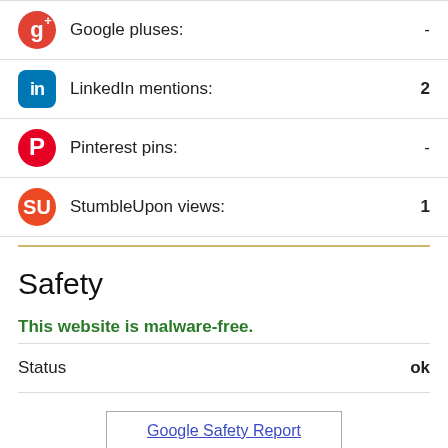Google pluses: -
LinkedIn mentions: 2
Pinterest pins: -
StumbleUpon views: 1
Safety
This website is malware-free.
Status  ok
Google Safety Report